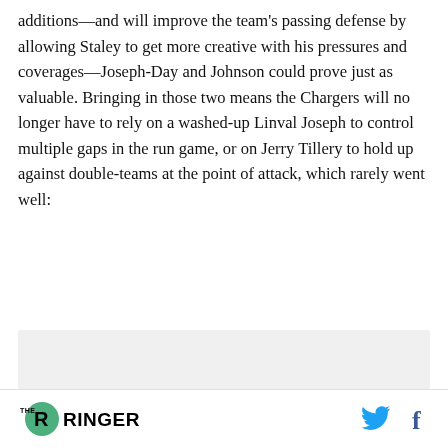additions—and will improve the team's passing defense by allowing Staley to get more creative with his pressures and coverages—Joseph-Day and Johnson could prove just as valuable. Bringing in those two means the Chargers will no longer have to rely on a washed-up Linval Joseph to control multiple gaps in the run game, or on Jerry Tillery to hold up against double-teams at the point of attack, which rarely went well:
[Figure (other): Gray placeholder box for embedded media content]
THE RINGER [logo] [Twitter icon] [Facebook icon]